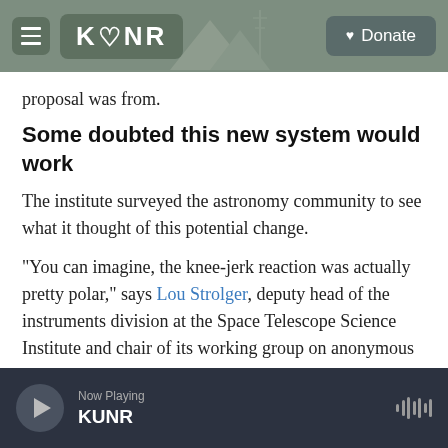KUNR | Donate
proposal was from.
Some doubted this new system would work
The institute surveyed the astronomy community to see what it thought of this potential change.
"You can imagine, the knee-jerk reaction was actually pretty polar," says Lou Strolger, deputy head of the instruments division at the Space Telescope Science Institute and chair of its working group on anonymous proposing.
Now Playing KUNR